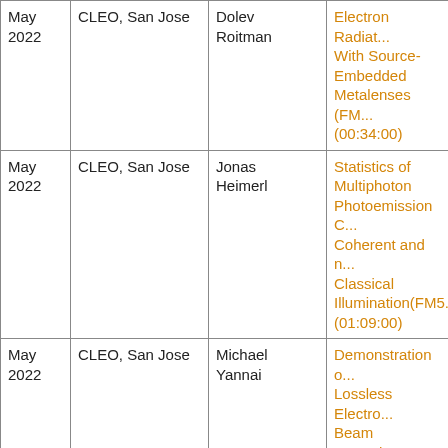| Date | Conference | Author | Title/Talk |
| --- | --- | --- | --- |
| May 2022 | CLEO, San Jose | Dolev Roitman | Electron Radia... With Source-Embedded Metalenses (FM... (00:34:00) |
| May 2022 | CLEO, San Jose | Jonas Heimerl | Statistics of Multiphoton Photoemission C... Coherent and n... Classical Illumination(FM5... (01:09:00) |
| May 2022 | CLEO, San Jose | Michael Yannai | Demonstration o... Lossless Electro... Beam Monochro... in an Ultrafast T... Using Near-Fiel... Radiation(STu4... (00:17:00) |
|  |  |  | High Harmonic... |